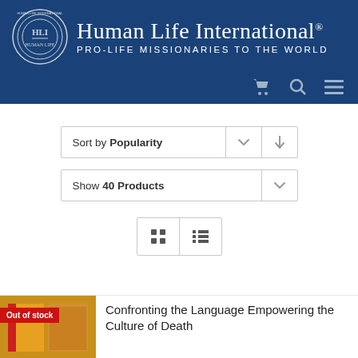[Figure (logo): Human Life International logo with circular HLI emblem, organization name and tagline PRO-LIFE MISSIONARIES TO THE WORLD on dark blue background with cart, search, and menu icons]
Sort by Popularity
Show 40 Products
[Figure (screenshot): Grid and list view toggle buttons]
[Figure (photo): Book product image with Out of stock badge]
Confronting the Language Empowering the Culture of Death